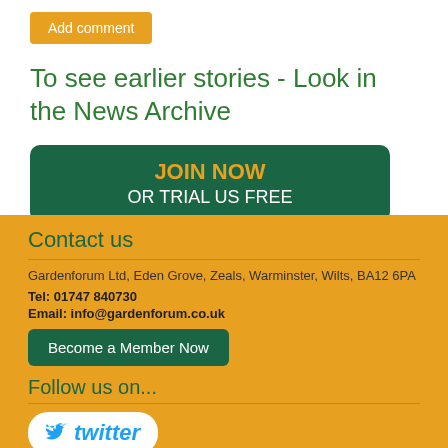Add comment
To see earlier stories - Look in the News Archive
[Figure (other): Green rounded rectangle button with text JOIN NOW in orange and OR TRIAL US FREE in white]
Contact us
Gardenforum Ltd, Eden Grove, Zeals, Warminster, Wilts, BA12 6PA
Tel: 01747 840730
Email: info@gardenforum.co.uk
Become a Member Now
Follow us on...
[Figure (logo): Twitter logo button - white rounded rectangle with blue twitter bird icon and italic twitter text]
Newsletter